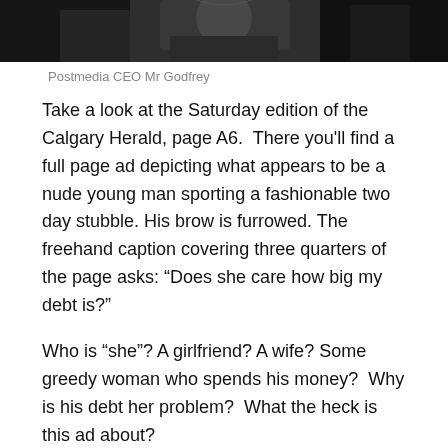[Figure (photo): Dark photograph of Postmedia CEO Mr Godfrey, cropped at top showing upper body/shoulders in dark clothing]
Postmedia CEO Mr Godfrey
Take a look at the Saturday edition of the Calgary Herald, page A6.  There you’ll find a full page ad depicting what appears to be a nude young man sporting a fashionable two day stubble. His brow is furrowed. The freehand caption covering three quarters of the page asks: “Does she care how big my debt is?”
Who is “she”? A girlfriend? A wife? Some greedy woman who spends his money?  Why is his debt her problem?  What the heck is this ad about?
Ms Soapbox showed the ad to three young women and a young man. Their reactions varied from it’s suggestive (it’s easy to misread the word “debt” in that sentence) to it’s